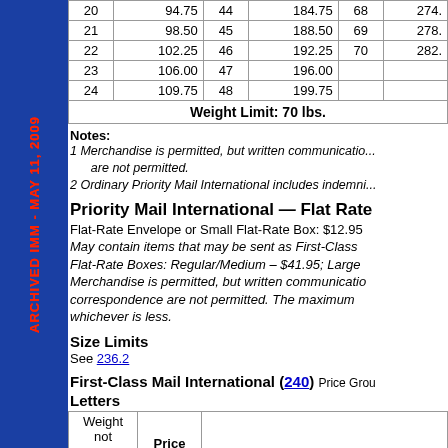| Lbs. | Price | Lbs. | Price | Lbs. | Price |
| --- | --- | --- | --- | --- | --- |
| 20 | 94.75 | 44 | 184.75 | 68 | 274. |
| 21 | 98.50 | 45 | 188.50 | 69 | 278. |
| 22 | 102.25 | 46 | 192.25 | 70 | 282. |
| 23 | 106.00 | 47 | 196.00 |  |  |
| 24 | 109.75 | 48 | 199.75 |  |  |
| Weight Limit: 70 lbs. |  |  |  |  |  |
Notes:
1 Merchandise is permitted, but written communications are not permitted.
2 Ordinary Priority Mail International includes indemni...
Priority Mail International — Flat Rate
Flat-Rate Envelope or Small Flat-Rate Box: $12.95
May contain items that may be sent as First-Class... Flat-Rate Boxes: Regular/Medium – $41.95; Large... Merchandise is permitted, but written communications... correspondence are not permitted. The maximum... whichever is less.
Size Limits
See 236.2
First-Class Mail International (240) Price Grou...
Letters
| Weight not over (ozs.) | Price |  |  |
| --- | --- | --- | --- |
| 1 | $0.98 | Note: A letter meeting one or more... | charged a nonmachinable surcha... |
| 2 | 1.80 |  |  |
ARCHIVED IMM - MAY 11, 2009